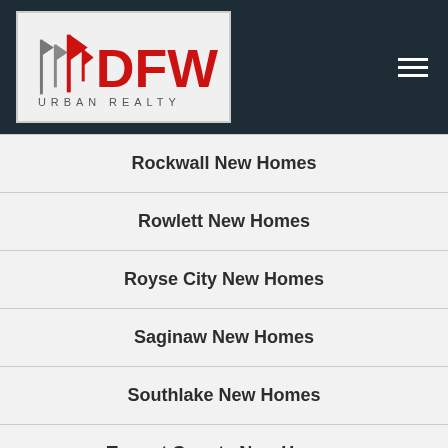[Figure (logo): DFW Urban Realty logo with red lettering and gray flag icons]
Rockwall New Homes
Rowlett New Homes
Royse City New Homes
Saginaw New Homes
Southlake New Homes
Tarrant County New Homes
The Colony New Homes
Trophy Club New Homes